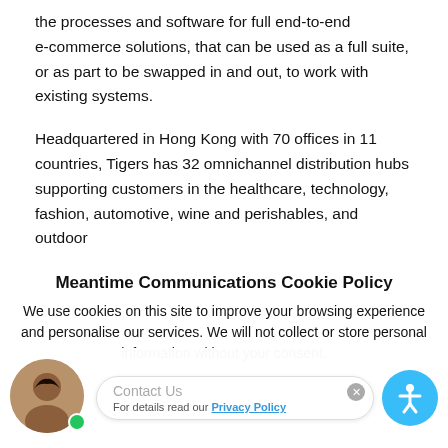the processes and software for full end-to-end e-commerce solutions, that can be used as a full suite, or as part to be swapped in and out, to work with existing systems.
Headquartered in Hong Kong with 70 offices in 11 countries, Tigers has 32 omnichannel distribution hubs supporting customers in the healthcare, technology, fashion, automotive, wine and perishables, and outdoor
Meantime Communications Cookie Policy
We use cookies on this site to improve your browsing experience and personalise our services. We will not collect or store personal information without your consent.
Accept | Decline
Contact Us
For details read our Privacy Policy